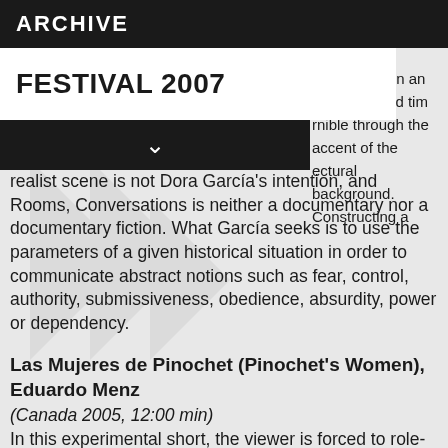ARCHIVE
FESTIVAL 2007
...thus set in an undetermined time...rnible through the accent of the...ectural background. Constructing a realist scene is not Dora García's intention, and Rooms, Conversations is neither a documentary nor a documentary fiction. What García seeks is to use the parameters of a given historical situation in order to communicate abstract notions such as fear, control, authority, submissiveness, obedience, absurdity, power or dependency.
Las Mujeres de Pinochet (Pinochet's Women), Eduardo Menz
(Canada 2005, 12:00 min)
In this experimental short, the viewer is forced to role-play through the repeated employment and alteration of the text, sound and image until his or her expectations have